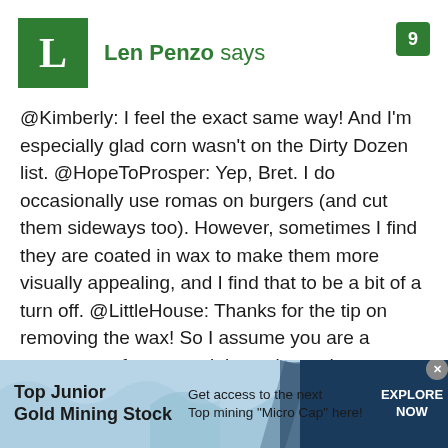[Figure (logo): Green square avatar with white letter L]
Len Penzo says
9
@Kimberly: I feel the exact same way! And I'm especially glad corn wasn't on the Dirty Dozen list. @HopeToProsper: Yep, Bret. I do occasionally use romas on burgers (and cut them sideways too). However, sometimes I find they are coated in wax to make them more visually appealing, and I find that to be a bit of a turn off. @LittleHouse: Thanks for the tip on removing the wax! So I assume you are a proponent of commercial veggie washes
[Figure (infographic): Advertisement banner: Top Junior Gold Mining Stock — Get access to the next Top mining 'Micro Cap' here! — EXPLORE NOW button]